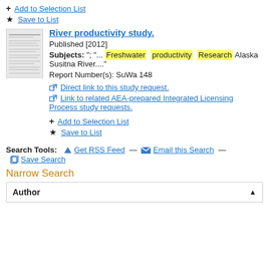+ Add to Selection List
★ Save to List
River productivity study.
Published [2012]
Subjects: "; "... Freshwater productivity Research Alaska Susitna River...."
Report Number(s): SuWa 148
Direct link to this study request.
Link to related AEA-prepared Integrated Licensing Process study requests.
+ Add to Selection List
★ Save to List
Search Tools:  Get RSS Feed  —  Email this Search  —  Save Search
Narrow Search
| Author |  |
| --- | --- |